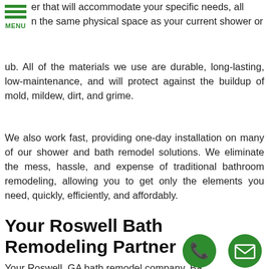[Figure (other): Green hamburger menu icon with three horizontal bars and MENU label]
er that will accommodate your specific needs, all n the same physical space as your current shower or ub. All of the materials we use are durable, long-lasting, low-maintenance, and will protect against the buildup of mold, mildew, dirt, and grime.
We also work fast, providing one-day installation on many of our shower and bath remodel solutions. We eliminate the mess, hassle, and expense of traditional bathroom remodeling, allowing you to get only the elements you need, quickly, efficiently, and affordably.
Your Roswell Bath Remodeling Partner
Your Roswell, GA bath remodel company, Bathroom